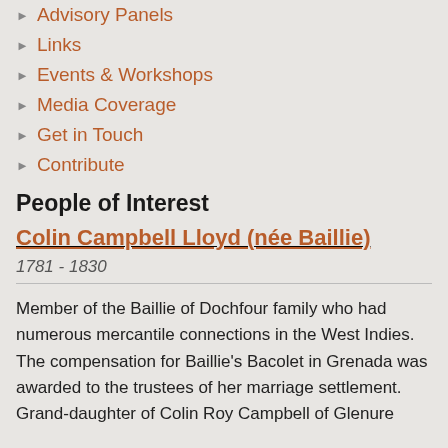Advisory Panels
Links
Events & Workshops
Media Coverage
Get in Touch
Contribute
People of Interest
Colin Campbell Lloyd (née Baillie)
1781 - 1830
Member of the Baillie of Dochfour family who had numerous mercantile connections in the West Indies. The compensation for Baillie's Bacolet in Grenada was awarded to the trustees of her marriage settlement. Grand-daughter of Colin Roy Campbell of Glenure...